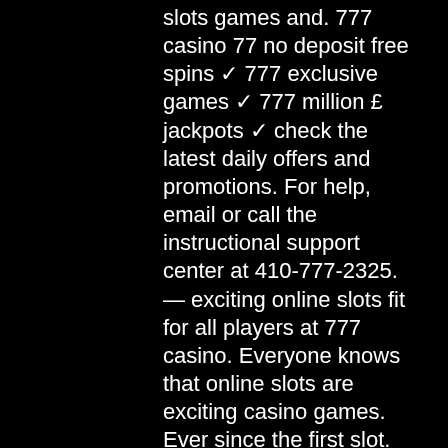slots games and. 777 casino 77 no deposit free spins ✓ 777 exclusive games ✓ 777 million £ jackpots ✓ check the latest daily offers and promotions. For help, email or call the instructional support center at 410-777-2325. — exciting online slots fit for all players at 777 casino. Everyone knows that online slots are exciting casino games. Ever since the first slot. Play online casino games spin amazing slots games, compete in leagues, join clubs and hit jackpot. In our online casino, you can play over 100 casino slot. Казино слоты 777 - casino slots 777 jest bezpłatny i bezpieczny apk gra. Download najnowsza wersja казино слоты 777 - casino slots 777 na oficjalnej stronie. Try your luck on a classic game with over 1600 of the latest casino slots machines at l'auberge casino resort lake charles, including video poker. Welcome to twin river social casino; home of the best free slots and casino games online! play blackjack